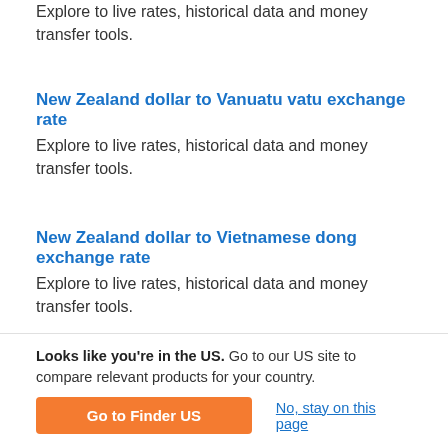Explore to live rates, historical data and money transfer tools.
New Zealand dollar to Vanuatu vatu exchange rate
Explore to live rates, historical data and money transfer tools.
New Zealand dollar to Vietnamese dong exchange rate
Explore to live rates, historical data and money transfer tools.
New Zealand dollar to Taiwan New dollar exchange rate
Get to exchange rates and historical data.
Looks like you're in the US. Go to our US site to compare relevant products for your country.
Go to Finder US
No, stay on this page